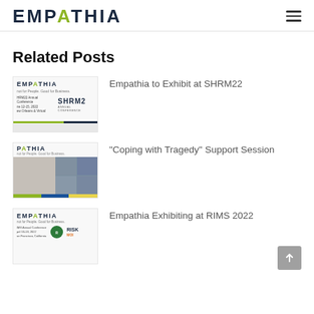[Figure (logo): Empathia logo with stylized A in green/olive color]
Related Posts
[Figure (screenshot): Empathia thumbnail for SHRM22 Annual Conference post]
Empathia to Exhibit at SHRM22
[Figure (photo): Empathia thumbnail showing person at screen for Coping with Tragedy post]
“Coping with Tragedy” Support Session
[Figure (screenshot): Empathia thumbnail for RIMS 2022 Annual Conference post]
Empathia Exhibiting at RIMS 2022